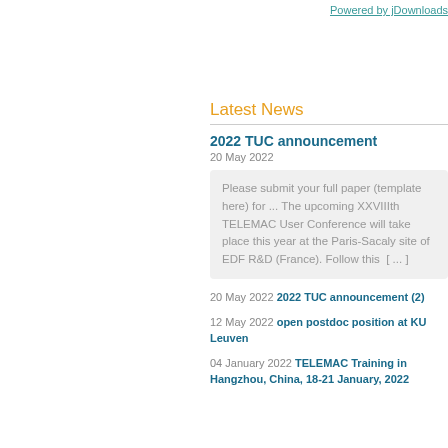Powered by jDownloads
Latest News
2022 TUC announcement
20 May 2022
Please submit your full paper (template here) for ... The upcoming XXVIIIth TELEMAC User Conference will take place this year at the Paris-Sacaly site of EDF R&D (France). Follow this [ ... ]
20 May 2022 2022 TUC announcement (2)
12 May 2022 open postdoc position at KU Leuven
04 January 2022 TELEMAC Training in Hangzhou, China, 18-21 January, 2022